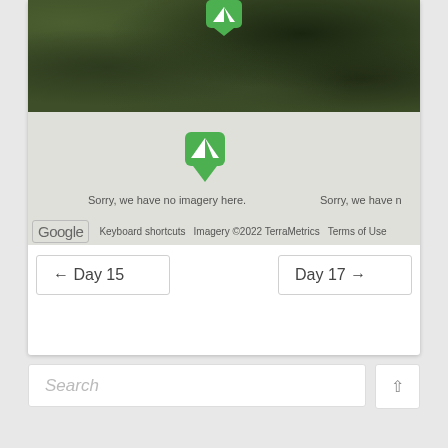[Figure (map): Google Maps satellite and gray no-imagery map view with two green camping/location markers. Top portion shows satellite aerial view of forested/rocky terrain. Bottom portion shows gray no-imagery area with message 'Sorry, we have no imagery here.' repeated.]
Sorry, we have no imagery here.
Sorry, we have n
[Figure (other): Google logo with attribution: Keyboard shortcuts | Imagery ©2022 TerraMetrics | Terms of Use]
← Day 15
Day 17 →
Search